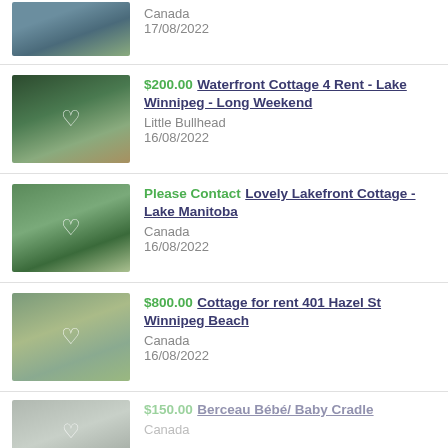[Figure (photo): Partial top listing showing a deck/outdoor area photo]
Canada
17/08/2022
[Figure (photo): Forest/lake cabin photo with heart icon]
$200.00 Waterfront Cottage 4 Rent - Lake Winnipeg - Long Weekend
Little Bullhead
16/08/2022
[Figure (photo): Aerial view of lakefront cottage with heart icon]
Please Contact Lovely Lakefront Cottage - Lake Manitoba
Canada
16/08/2022
[Figure (photo): Deck/porch of cottage with heart icon]
$800.00 Cottage for rent 401 Hazel St Winnipeg Beach
Canada
16/08/2022
[Figure (photo): Partial bottom listing photo (baby cradle/cradle item)]
$150.00 Berceau Bébé/ Baby Cradle
Canada